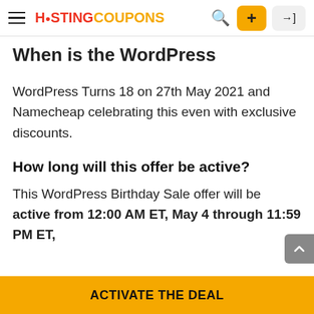H STING COUPONS
When is the WordPress Birthday?
WordPress Turns 18 on 27th May 2021 and Namecheap celebrating this even with exclusive discounts.
How long will this offer be active?
This WordPress Birthday Sale offer will be active from 12:00 AM ET, May 4 through 11:59 PM ET,
ACTIVATE THE DEAL